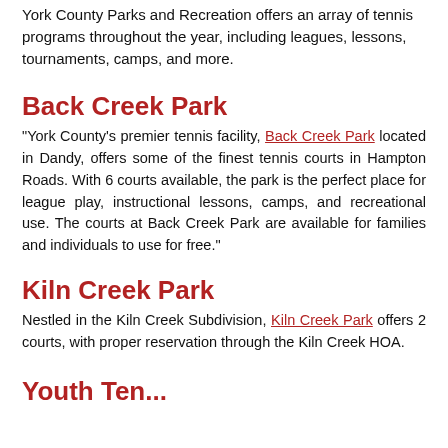York County Parks and Recreation offers an array of tennis programs throughout the year, including leagues, lessons, tournaments, camps, and more.
Back Creek Park
"York County's premier tennis facility, Back Creek Park located in Dandy, offers some of the finest tennis courts in Hampton Roads. With 6 courts available, the park is the perfect place for league play, instructional lessons, camps, and recreational use. The courts at Back Creek Park are available for families and individuals to use for free."
Kiln Creek Park
Nestled in the Kiln Creek Subdivision, Kiln Creek Park offers 2 courts, with proper reservation through the Kiln Creek HOA.
Youth Ten...